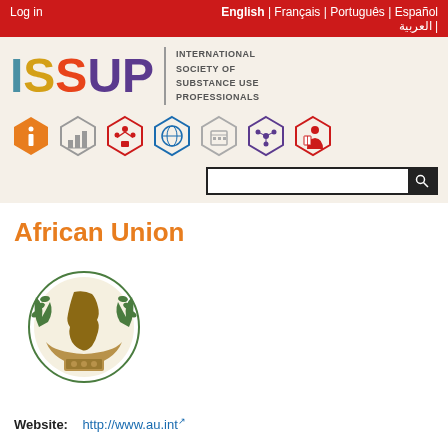Log in | English | Français | Português | Español | العربية
[Figure (logo): ISSUP logo — colorful bold letters I S S U P with text International Society of Substance Use Professionals]
[Figure (infographic): Row of seven hexagonal icons representing different ISSUP features/sections]
African Union
[Figure (logo): African Union circular emblem with Africa map, olive branches, and supporting hands]
Website:   http://www.au.int